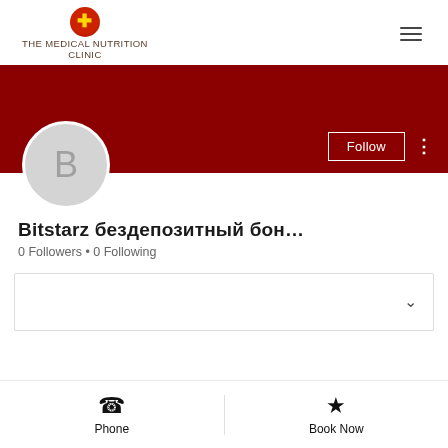THE MEDICAL NUTRITION CLINIC
[Figure (screenshot): Profile page showing dark red banner with Follow button, circular avatar with letter B, profile name 'Bitstarz бездепозитный бон...', 0 Followers • 0 Following, expandable section, and bottom action bar with Phone and Book Now]
Bitstarz бездепозитный бон...
0 Followers • 0 Following
Phone
Book Now